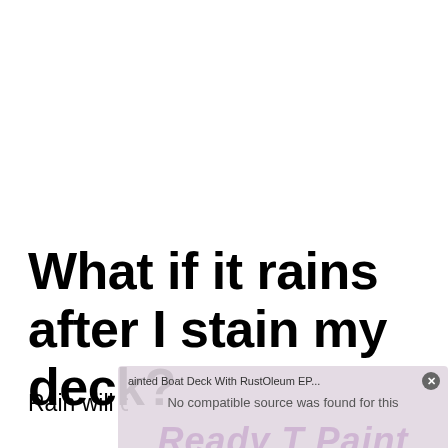What if it rains after I stain my deck?
Rain will cause the stain to peel off if you apply...
[Figure (screenshot): A partially visible video overlay showing 'Painted Boat Deck With RustOleum EP...' title, 'No compatible source was found for this' subtitle, 'Ready To Paint' watermark text, an X close button, and circular control icons at the bottom.]